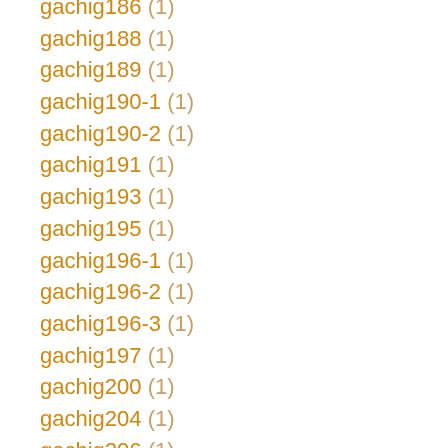gachig186 (1)
gachig188 (1)
gachig189 (1)
gachig190-1 (1)
gachig190-2 (1)
gachig191 (1)
gachig193 (1)
gachig195 (1)
gachig196-1 (1)
gachig196-2 (1)
gachig196-3 (1)
gachig197 (1)
gachig200 (1)
gachig204 (1)
gachig206 (1)
gachig209-1 (1)